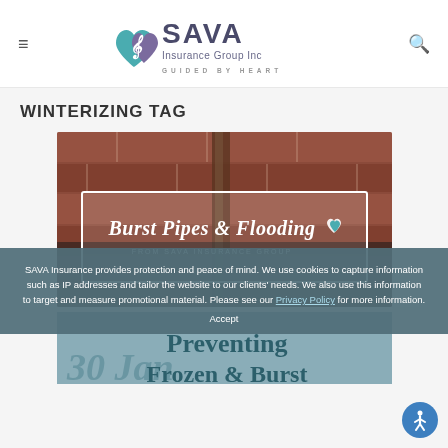[Figure (logo): SAVA Insurance Group Inc logo with heart icon and tagline GUIDED BY HEART]
WINTERIZING TAG
[Figure (photo): Close-up of brick wall with moisture/water damage, overlaid with a white-bordered banner reading 'Burst Pipes & Flooding FROM SAVA INSURANCE GROUP' with the SAVA heart logo]
[Figure (photo): Second article preview on teal background with date '30 Jan' and headline 'Preventing Frozen & Burst' Pipes article from SAVA Insurance Group]
SAVA Insurance provides protection and peace of mind. We use cookies to capture information such as IP addresses and tailor the website to our clients' needs. We also use this information to target and measure promotional material. Please see our Privacy Policy for more information.
Accept